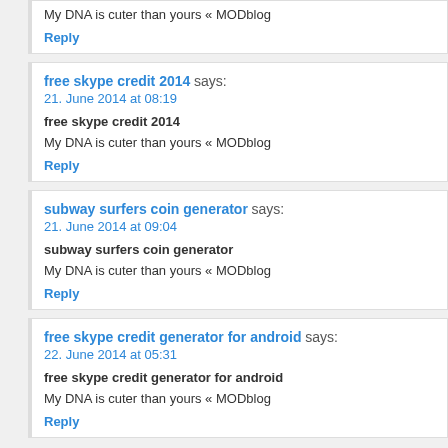My DNA is cuter than yours « MODblog
Reply
free skype credit 2014 says:
21. June 2014 at 08:19
free skype credit 2014
My DNA is cuter than yours « MODblog
Reply
subway surfers coin generator says:
21. June 2014 at 09:04
subway surfers coin generator
My DNA is cuter than yours « MODblog
Reply
free skype credit generator for android says:
22. June 2014 at 05:31
free skype credit generator for android
My DNA is cuter than yours « MODblog
Reply